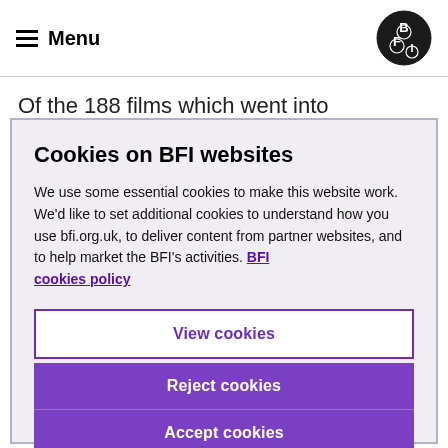Menu | BFI
Of the 188 films which went into production in 2019, 94 were domestic UK films with a total
Cookies on BFI websites
We use some essential cookies to make this website work. We'd like to set additional cookies to understand how you use bfi.org.uk, to deliver content from partner websites, and to help market the BFI's activities. BFI cookies policy
View cookies
Reject cookies
Accept cookies